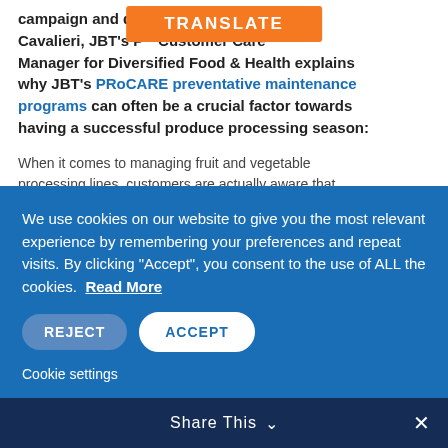campaign and downtime. Alberto Cavalieri, JBT's P... Customer Care Manager for Diversified Food & Health explains why JBT's PRoCARE preventative maintenance programs can often be a crucial factor towards having a successful produce processing season:
When it comes to managing fruit and vegetable processing lines, customers are actually aware that they are working against the clock and have to get the most out of what are often very short annual
We use cookies on our website to give you the most relevant experience by remembering your preferences and repeat visits. By clicking “Accept”, you consent to the use of ALL the cookies. Read More
Cookie settings
Share This